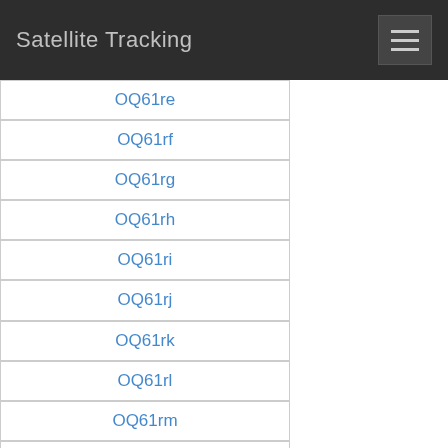Satellite Tracking
OQ61re
OQ61rf
OQ61rg
OQ61rh
OQ61ri
OQ61rj
OQ61rk
OQ61rl
OQ61rm
OQ61rn
OQ61ro
OQ61rp
OQ61rq
OQ61rr
OQ61rs
OQ61rt
OQ61ru
OQ61rv